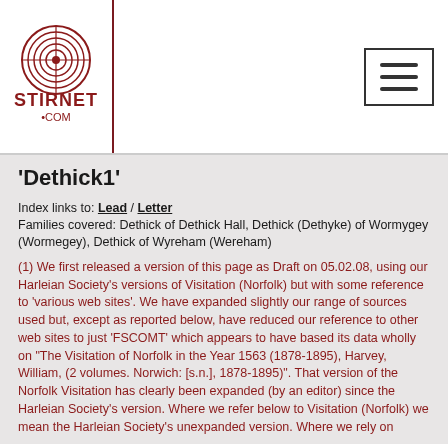STIRNET.COM [logo with hamburger menu]
'Dethick1'
Index links to: Lead / Letter
Families covered: Dethick of Dethick Hall, Dethick (Dethyke) of Wormygey (Wormegey), Dethick of Wyreham (Wereham)
(1) We first released a version of this page as Draft on 05.02.08, using our Harleian Society's versions of Visitation (Norfolk) but with some reference to 'various web sites'. We have expanded slightly our range of sources used but, except as reported below, have reduced our reference to other web sites to just 'FSCOMT' which appears to have based its data wholly on "The Visitation of Norfolk in the Year 1563 (1878-1895), Harvey, William, (2 volumes. Norwich: [s.n.], 1878-1895)". That version of the Norfolk Visitation has clearly been expanded (by an editor) since the Harleian Society's version. Where we refer below to Visitation (Norfolk) we mean the Harleian Society's unexpanded version. Where we rely on